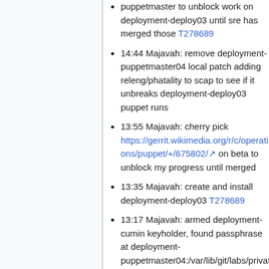puppetmaster to unblock work on deployment-deploy03 until sre has merged those T278689
14:44 Majavah: remove deployment-puppetmaster04 local patch adding releng/phatality to scap to see if it unbreaks deployment-deploy03 puppet runs
13:55 Majavah: cherry pick https://gerrit.wikimedia.org/r/c/operations/puppet/+/675802/ on beta to unblock my progress until merged
13:35 Majavah: create and install deployment-deploy03 T278689
13:17 Majavah: armed deployment-cumin keyholder, found passphrase at deployment-puppetmaster04:/var/lib/git/labs/private/f
07:26 Majavah: shutoff deployment-mediawiki-09 T278664